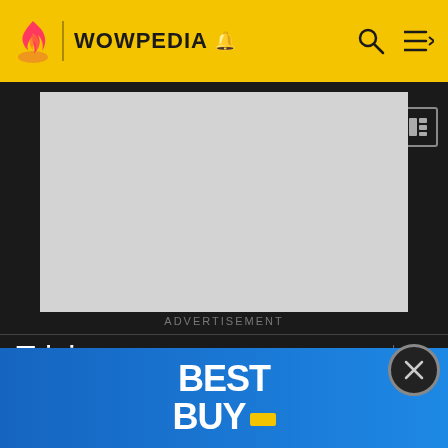WOWPEDIA
[Figure (other): Advertisement placeholder gray box]
ADVERTISEMENT
Trivia
As seen by the dimensional gateways' locations in World of Warcraft, this map is actually stretching across most of Outland. One of the gateways (Por[tal Cleaving] was located in ... [Death's Do[main] ... [Tw]ilight Ridge) in Nagrand. The location of the last one is
[Figure (other): Best Buy advertisement banner overlay at bottom]
[Figure (other): Close/X button circle overlay]